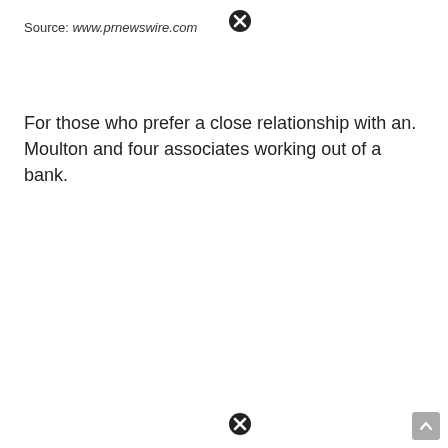Source: www.prnewswire.com
For those who prefer a close relationship with an. Moulton and four associates working out of a bank.